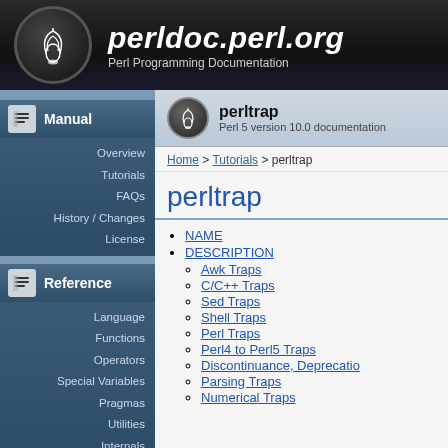perldoc.perl.org — Perl Programming Documentation
Manual
Overview
Tutorials
FAQs
History / Changes
License
Reference
Language
Functions
Operators
Special Variables
Pragmas
Utilities
Internals
Platform Specific
Modules
perltrap — Perl 5 version 10.0 documentation
Home > Tutorials > perltrap
perltrap
NAME
DESCRIPTION
Awk Traps
C/C++ Traps
Sed Traps
Shell Traps
Perl Traps
Perl4 to Perl5 Traps
Discontinuance, Deprecation
Parsing Traps
Numerical Traps